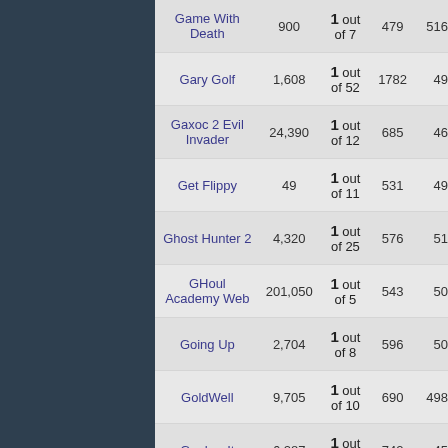| Game Name | Score | Rank | ? | ? |
| --- | --- | --- | --- | --- |
| Game With Death | 900 | 1 out of 7 | 479 | 516 |
| Gary Golf | 1,608 | 1 out of 52 | 1782 | 49 |
| Gaxoc 2 Evil Invader | 24,390 | 1 out of 12 | 685 | 46 |
| Get Flippy | 49 | 1 out of 11 | 531 | 49 |
| Ghost Hunter 2 | 4,320 | 1 out of 25 | 576 | 51 |
| GHoul Academy Web | 201,050 | 1 out of 5 | 543 | 50 |
| Going Up | 2,704 | 1 out of 8 | 596 | 50 |
| GoldWell | 9,705 | 1 out of 10 | 690 | 498 |
| Gopher It | 6,287 | 1 out of 8 | 742 | 45 |
| Graag revamped | 236,520 | 1 out of 6 | 432 | 4892 |
| Graviton | 4,320 | 1 out of 10 | 639 | 4662 |
| Gravity Orb | 1,065 | 1 out of 6 | 782 | 46 |